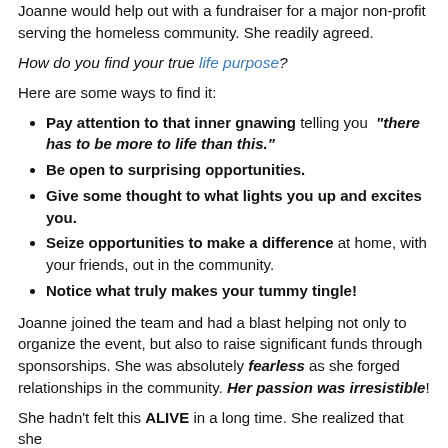Joanne would help out with a fundraiser for a major non-profit serving the homeless community.  She readily agreed.
How do you find your true life purpose?
Here are some ways to find it:
Pay attention to that inner gnawing telling you  "there has to be more to life than this."
Be open to surprising opportunities.
Give some thought to what lights you up and excites you.
Seize opportunities to make a difference at home, with your friends, out in the community.
Notice what truly makes your tummy tingle!
Joanne joined the team and had a blast helping not only to organize the event, but also to raise significant funds through sponsorships.  She was absolutely fearless as she forged relationships in the community.  Her passion was irresistible!
She hadn't felt this ALIVE in a long time.  She realized that she